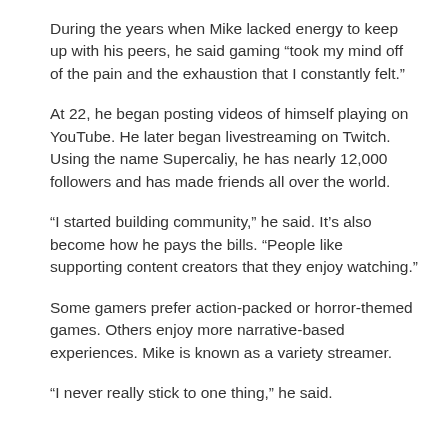During the years when Mike lacked energy to keep up with his peers, he said gaming “took my mind off of the pain and the exhaustion that I constantly felt.”
At 22, he began posting videos of himself playing on YouTube. He later began livestreaming on Twitch. Using the name Supercaliy, he has nearly 12,000 followers and has made friends all over the world.
“I started building community,” he said. It’s also become how he pays the bills. “People like supporting content creators that they enjoy watching.”
Some gamers prefer action-packed or horror-themed games. Others enjoy more narrative-based experiences. Mike is known as a variety streamer.
“I never really stick to one thing,” he said.